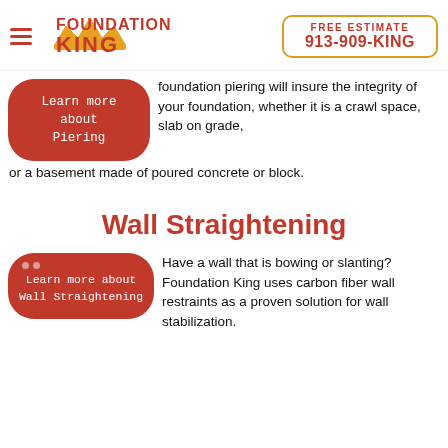Foundation King | FREE ESTIMATE 913-909-KING
foundation piering will insure the integrity of your foundation, whether it is a crawl space, slab on grade, or a basement made of poured concrete or block.
[Figure (screenshot): Red rounded button labeled 'Learn more about Piering']
Wall Straightening
[Figure (screenshot): Red rounded button labeled 'Learn more about Wall Straightening']
Have a wall that is bowing or slanting? Foundation King uses carbon fiber wall restraints as a proven solution for wall stabilization.